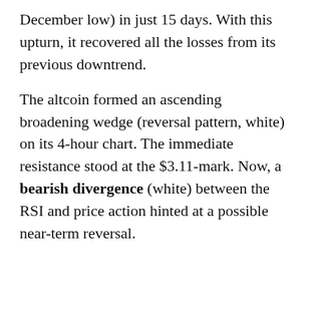December low) in just 15 days. With this upturn, it recovered all the losses from its previous downtrend.
The altcoin formed an ascending broadening wedge (reversal pattern, white) on its 4-hour chart. The immediate resistance stood at the $3.11-mark. Now, a bearish divergence (white) between the RSI and price action hinted at a possible near-term reversal.
At press time, FTM traded at $3.0505. The RSI was deep into the overbought region and confirmed the one-sided bullish force. Also, the price swayed near the upper band of the Bollinger Bands (BB). Keeping in mind the overbought readings on the RSI and BB, a pullback from here should not surprise the investors/traders.